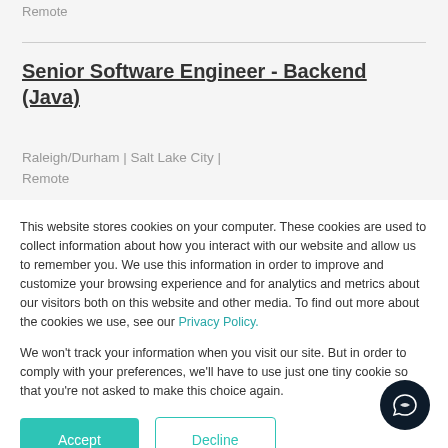Remote
Senior Software Engineer - Backend (Java)
Raleigh/Durham | Salt Lake City | Remote
This website stores cookies on your computer. These cookies are used to collect information about how you interact with our website and allow us to remember you. We use this information in order to improve and customize your browsing experience and for analytics and metrics about our visitors both on this website and other media. To find out more about the cookies we use, see our Privacy Policy.
We won't track your information when you visit our site. But in order to comply with your preferences, we'll have to use just one tiny cookie so that you're not asked to make this choice again.